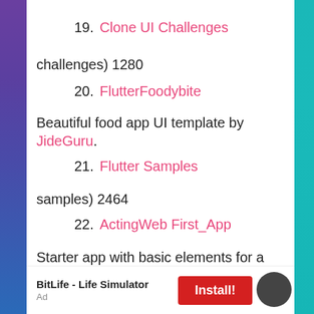19. Clone UI Challenges
challenges) 1280
20. FlutterFoodybite
Beautiful food app UI template by JideGuru.
21. Flutter Samples
samples) 2464
22. ActingWeb First_App
Starter app with basic elements for a team
BitLife - Life Simulator   Install!   Ad